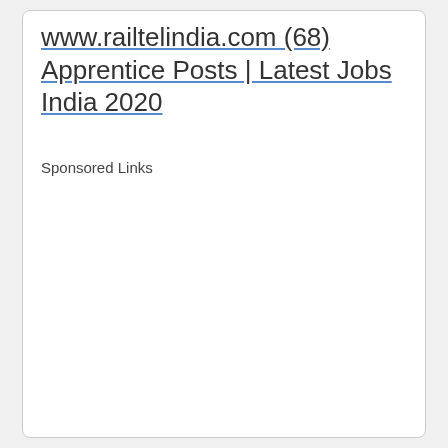www.railtelindia.com (68) Apprentice Posts | Latest Jobs India 2020
Sponsored Links